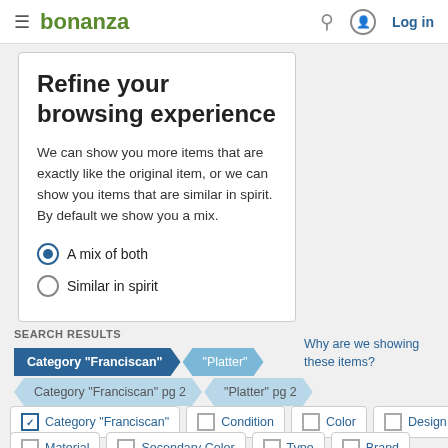bonanza | Log in
Refine your browsing experience
We can show you more items that are exactly like the original item, or we can show you items that are similar in spirit. By default we show you a mix.
A mix of both
Similar in spirit
SEARCH RESULTS
Why are we showing these items?
Category "Franciscan" > "Platter"
Category "Franciscan" pg 2 > "Platter" pg 2
Category "Franciscan" | Condition | Color | Design
Material | Secondary Color | Type | Brand